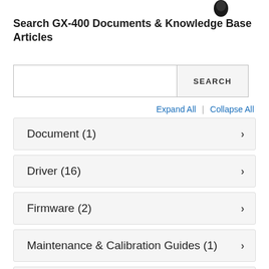[Figure (photo): Small black device/logo image at top right]
Search GX-400 Documents & Knowledge Base Articles
SEARCH (search bar)
Expand All | Collapse All
Document (1)
Driver (16)
Firmware (2)
Maintenance & Calibration Guides (1)
Owner & User Manual (3)
Product Info Guide (1)